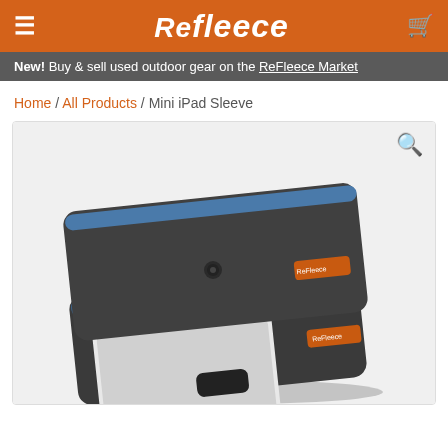ReFleece (logo header with hamburger menu and cart icon)
New! Buy & sell used outdoor gear on the ReFleece Market
Home / All Products / Mini iPad Sleeve
[Figure (photo): Product photo showing two dark charcoal felt Mini iPad Sleeves by ReFleece, one with a button snap closure showing blue interior lining and orange ReFleece label, and one open showing a white iPad mini partially inserted, with a black snap strap]